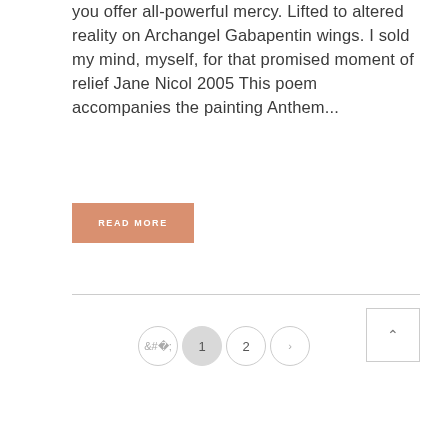you offer all-powerful mercy. Lifted to altered reality on Archangel Gabapentin wings. I sold my mind, myself, for that promised moment of relief Jane Nicol 2005 This poem accompanies the painting Anthem...
READ MORE
1 2